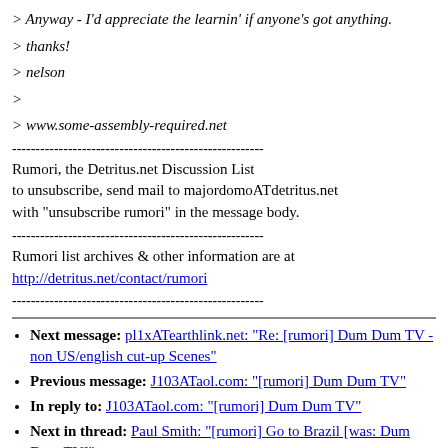> Anyway - I'd appreciate the learnin' if anyone's got anything.
> thanks!
> nelson
>
> www.some-assembly-required.net
------------------------------------------------------
Rumori, the Detritus.net Discussion List
to unsubscribe, send mail to majordomoATdetritus.net
with "unsubscribe rumori" in the message body.
------------------------------------------------------
Rumori list archives & other information are at
http://detritus.net/contact/rumori
------------------------------------------------------
Next message: pl1xATearthlink.net: "Re: [rumori] Dum Dum TV - non US/english cut-up Scenes"
Previous message: J103ATaol.com: "[rumori] Dum Dum TV"
In reply to: J103ATaol.com: "[rumori] Dum Dum TV"
Next in thread: Paul Smith: "[rumori] Go to Brazil [was: Dum Dum TV]"
Reply: Paul Smith: "[rumori] Go to Brazil [was: Dum Dum TV]"